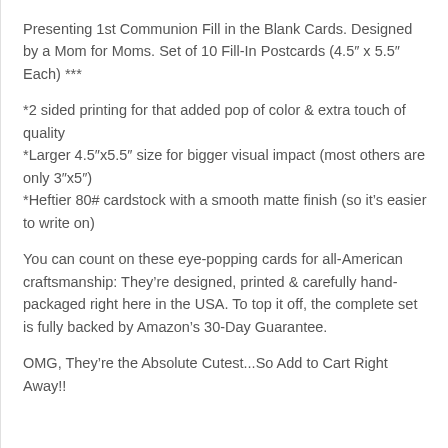Presenting 1st Communion Fill in the Blank Cards. Designed by a Mom for Moms. Set of 10 Fill-In Postcards (4.5″ x 5.5″ Each) ***
*2 sided printing for that added pop of color & extra touch of quality
*Larger 4.5″x5.5″ size for bigger visual impact (most others are only 3″x5″)
*Heftier 80# cardstock with a smooth matte finish (so it’s easier to write on)
You can count on these eye-popping cards for all-American craftsmanship: They’re designed, printed & carefully hand-packaged right here in the USA. To top it off, the complete set is fully backed by Amazon’s 30-Day Guarantee.
OMG, They’re the Absolute Cutest...So Add to Cart Right Away!!